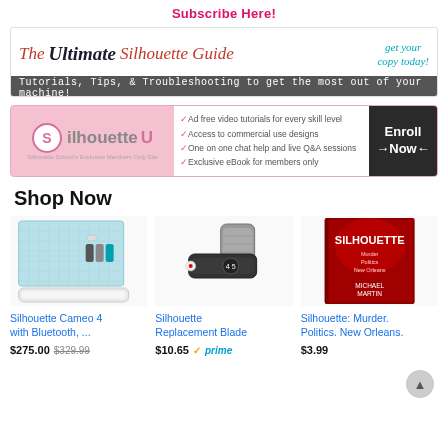Subscribe Here!
[Figure (illustration): The Ultimate Silhouette Guide banner with red italic text and teal 'get your copy today!' text, with dark subtitle bar reading 'Tutorials, Tips, & Troubleshooting to get the most out of your machine!']
[Figure (illustration): Silhouette U enrollment banner with pink background, logo, checkmark features list (Ad free video tutorials for every skill level, Access to commercial use designs, One on one chat help and live Q&A sessions, Exclusive eBook for members only), and 'Enroll Now' button on dark background]
Shop Now
[Figure (photo): Silhouette Cameo 4 cutting machine with accessories on blue cutting mat]
Silhouette Cameo 4 with Bluetooth, ...
$275.00 $329.99
[Figure (photo): Silhouette Replacement Blade - black blade tool with gray cap]
Silhouette Replacement Blade
$10.65 prime
[Figure (photo): Book cover: Silhouette - Murder Politics New Orleans by Michael Martin, red cover]
Silhouette: Murder. Politics. New Orleans.
$3.99